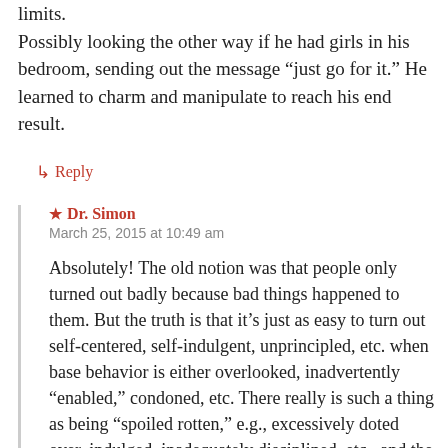limits.
Possibly looking the other way if he had girls in his bedroom, sending out the message “just go for it.” He learned to charm and manipulate to reach his end result.
↳ Reply
★ Dr. Simon
March 25, 2015 at 10:49 am
Absolutely! The old notion was that people only turned out badly because bad things happened to them. But the truth is that it’s just as easy to turn out self-centered, self-indulgent, unprincipled, etc. when base behavior is either overlooked, inadvertently “enabled,” condoned, etc. There really is such a thing as being “spoiled rotten,” e.g., excessively doted over, indulged, inadequately disciplined, etc., and the end result sometimes is a